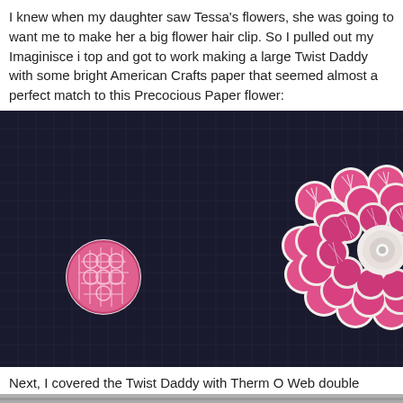I knew when my daughter saw Tessa's flowers, she was going to want me to make her a big flower hair clip. So I pulled out my Imaginisce i top and got to work making a large Twist Daddy with some bright American Crafts paper that seemed almost a perfect match to this Precocious Paper flower:
[Figure (photo): Photo of two pink and white patterned paper flowers on a dark cutting mat grid. A small round button/badge on the left and a large multi-layered paper flower on the right, both made from pink striped and patterned American Crafts paper.]
Next, I covered the Twist Daddy with Therm O Web double sided sticky tape.